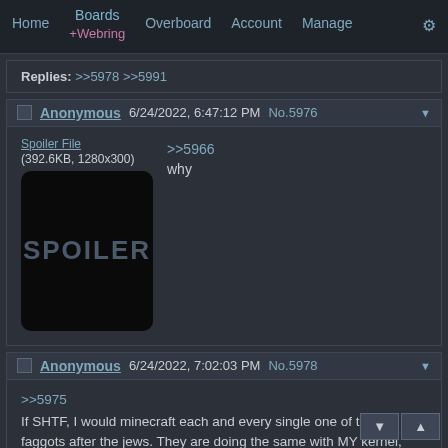Home  Boards +Webring  Overboard  Account  Manage
Replies: >>5978 >>5991
Anonymous 6/24/2022, 6:47:12 PM No.5976
[Figure (other): Spoiler image placeholder — black rounded rectangle with text SPOILER in gray. File: Spoiler File (392.6KB, 1280x300)]
>>5966
why
Anonymous 6/24/2022, 7:02:03 PM No.5978
>>5975
If SHTF, I would minecraft each and every single one of these faggots after the jews. They are doing the same with MY kernel, putting rust faggotry in it. Makes using Linux gay.
SEL has deep philosophical implications, not what their brainwashed twisted mind that think omg so deep nobody understands, lain is schizo lain just like me.